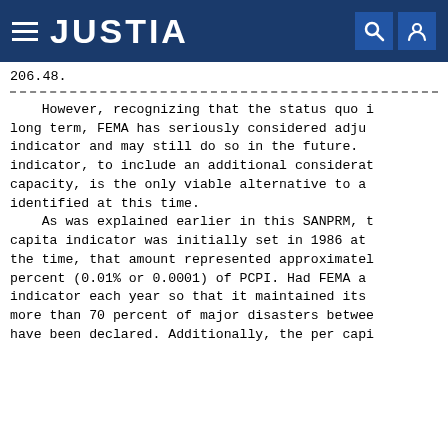JUSTIA
206.48.
However, recognizing that the status quo is not sustainable in the long term, FEMA has seriously considered adjusting the per capita indicator and may still do so in the future. Modifying the indicator, to include an additional consideration of fiscal capacity, is the only viable alternative to a status quo that was identified at this time.
As was explained earlier in this SANPRM, the per capita indicator was initially set in 1986 at a level that, at the time, that amount represented approximately one one-hundredth percent (0.01% or 0.0001) of PCPI. Had FEMA adjusted the indicator each year so that it maintained its original value, more than 70 percent of major disasters between 1986 and 2014 have been declared. Additionally, the per capi...